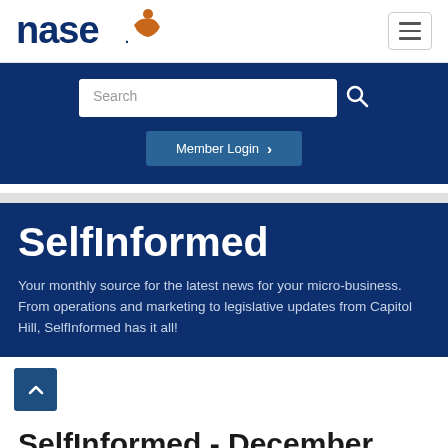[Figure (logo): NASE logo with orange figure and blue text 'nase.']
[Figure (other): Hamburger menu button with three horizontal lines]
[Figure (other): Search bar with text 'Search' and magnifying glass icon]
[Figure (other): Member Login button with chevron]
SelfInformed
Your monthly source for the latest news for your micro-business. From operations and marketing to legislative updates from Capitol Hill, SelfInformed has it all!
SelfInformed - December